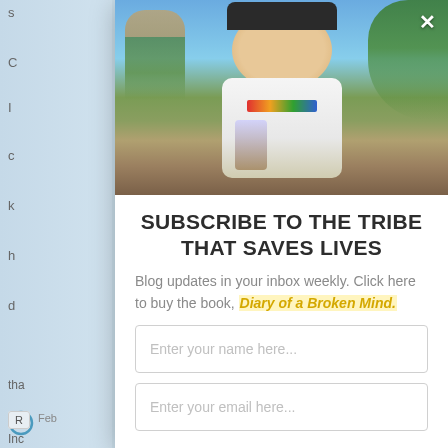[Figure (photo): A young man smiling outdoors, wearing a white t-shirt with colorful design, holding a drink, on a sunny day with trees and a suburban street in the background.]
SUBSCRIBE TO THE TRIBE THAT SAVES LIVES
Blog updates in your inbox weekly. Click here to buy the book, Diary of a Broken Mind.